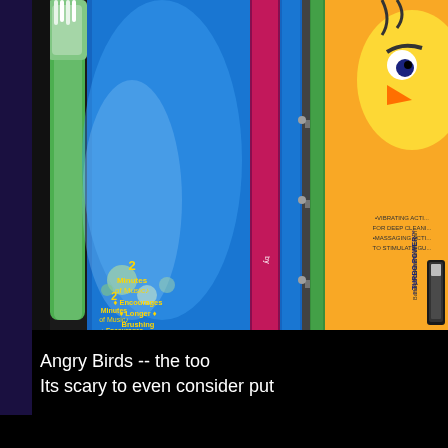[Figure (photo): Close-up photo of toothbrushes on a retail store shelf. Visible products include a blue toothbrush package with text '2 Minutes of Music Encourages Longer Brushing', green and yellow Angry Birds branded toothbrush packaging with partial text 'TURBO POWER', a pink/magenta toothbrush, and other dental products in the background.]
Angry Birds -- the too... Its scary to even consider put...